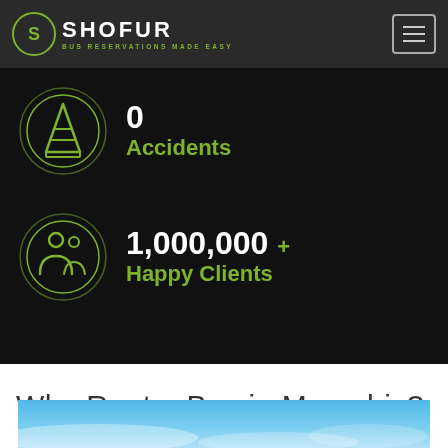SHOFUR — BUS RESERVATIONS MADE EASY
[Figure (infographic): Dark background section with two statistics: '0 Accidents' with a traffic cone icon in a green circle, and '1,000,000+ Happy Clients' with a people/group icon in a green circle]
Why Rent a Bus in Memphis?
[Figure (photo): Blue sky with wispy clouds, partial view at the bottom of the page]